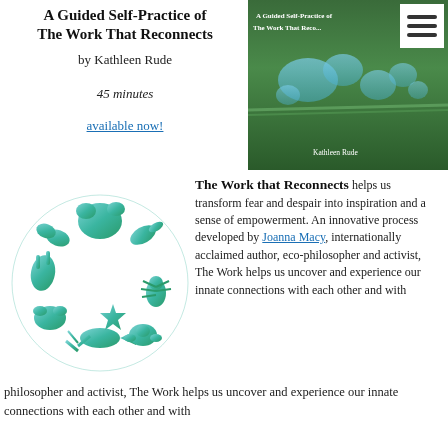A Guided Self-Practice of The Work That Reconnects
by Kathleen Rude
45 minutes
available now!
[Figure (photo): Book cover photo showing water droplets on green plant with title 'A Guided Self-Practice of The Work That Reconnects' by Kathleen Rude]
[Figure (logo): Circular logo made of various animals and nature elements in teal/green gradient colors]
The Work that Reconnects helps us transform fear and despair into inspiration and a sense of empowerment. An innovative process developed by Joanna Macy, internationally acclaimed author, eco-philosopher and activist, The Work helps us uncover and experience our innate connections with each other and with